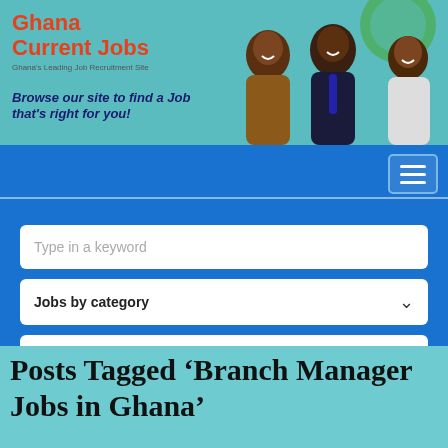[Figure (screenshot): Ghana Current Jobs website banner with logo, tagline, and photos of professionals]
Browse our site to find a Job that's right for you!
[Figure (screenshot): Navigation bar with hamburger menu button on blue background]
Type in a keyword
Jobs by category
Search
Posts Tagged ‘Branch Manager Jobs in Ghana’